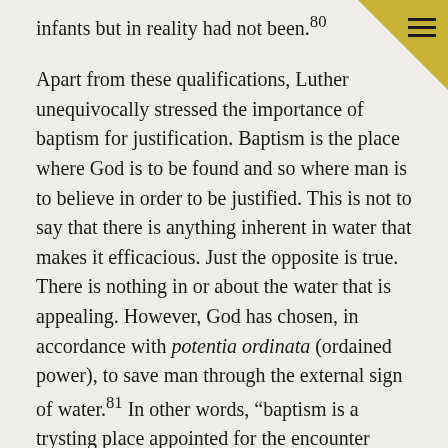infants but in reality had not been.80
Apart from these qualifications, Luther unequivocally stressed the importance of baptism for justification. Baptism is the place where God is to be found and so where man is to believe in order to be justified. This is not to say that there is anything inherent in water that makes it efficacious. Just the opposite is true. There is nothing in or about the water that is appealing. However, God has chosen, in accordance with potentia ordinata (ordained power), to save man through the external sign of water.81 In other words, “baptism is a trysting place appointed for the encounter between God and man.”82